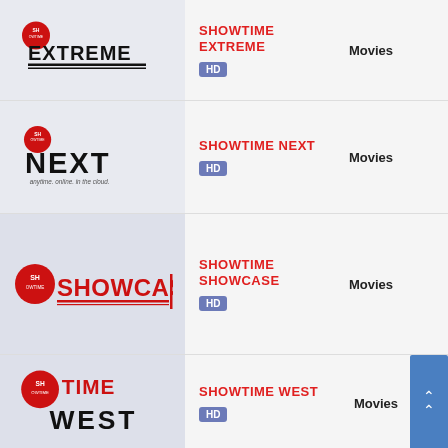[Figure (logo): Showtime Extreme logo - red Showtime badge with EXTREME in black bold text]
SHOWTIME EXTREME
HD
Movies
[Figure (logo): Showtime Next logo - red Showtime badge with NEXT in large black letters and tagline]
SHOWTIME NEXT
HD
Movies
[Figure (logo): Showtime Showcase logo - red circular badge logo with SHOWCASE text]
SHOWTIME SHOWCASE
HD
Movies
[Figure (logo): Showtime West logo - red Showtime badge with WEST in black bold text below]
SHOWTIME WEST
HD
Movies